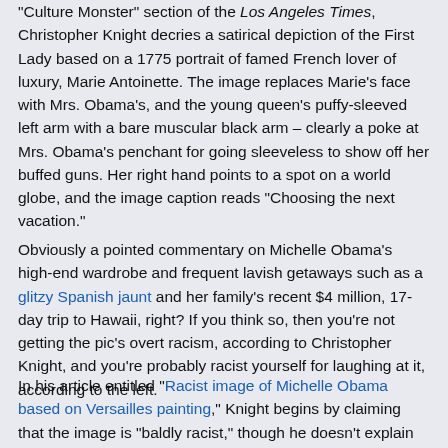“Culture Monster” section of the Los Angeles Times, Christopher Knight decries a satirical depiction of the First Lady based on a 1775 portrait of famed French lover of luxury, Marie Antoinette. The image replaces Marie’s face with Mrs. Obama’s, and the young queen’s puffy-sleeved left arm with a bare muscular black arm – clearly a poke at Mrs. Obama’s penchant for going sleeveless to show off her buffed guns. Her right hand points to a spot on a world globe, and the image caption reads “Choosing the next vacation.”
Obviously a pointed commentary on Michelle Obama’s high-end wardrobe and frequent lavish getaways such as a glitzy Spanish jaunt and her family’s recent $4 million, 17-day trip to Hawaii, right? If you think so, then you’re not getting the pic’s overt racism, according to Christopher Knight, and you’re probably racist yourself for laughing at it, according to the left.
In his article entitled “Racist image of Michelle Obama based on Versailles painting,” Knight begins by claiming that the image is “baldly racist,” though he doesn’t explain how except to state that “the caricature of Obama as a profligate queen relies on the racist stereotype of an ‘uppity Negro.’”